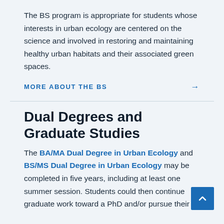The BS program is appropriate for students whose interests in urban ecology are centered on the science and involved in restoring and maintaining healthy urban habitats and their associated green spaces.
MORE ABOUT THE BS →
Dual Degrees and Graduate Studies
The BA/MA Dual Degree in Urban Ecology and BS/MS Dual Degree in Urban Ecology may be completed in five years, including at least one summer session. Students could then continue graduate work toward a PhD and/or pursue their